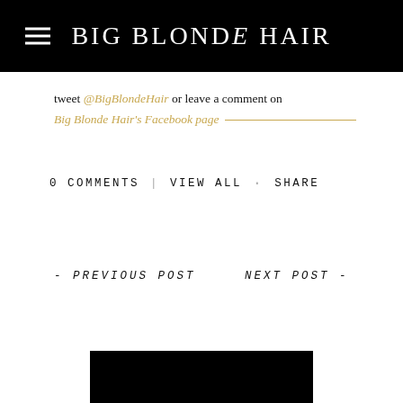BIG BLONDE HAIR
tweet @BigBlondeHair or leave a comment on Big Blonde Hair's Facebook page
0 COMMENTS  |  VIEW ALL  ·  SHARE
- PREVIOUS POST
NEXT POST -
[Figure (photo): Black rectangular image block at the bottom of the page]